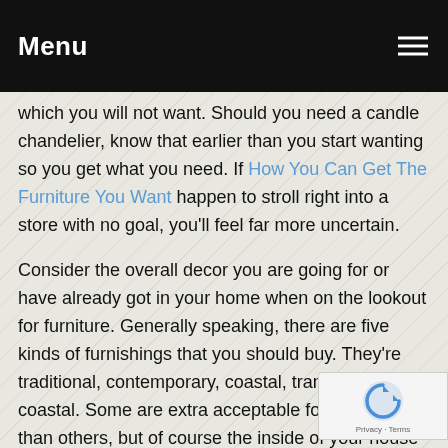Menu
which you will not want. Should you need a candle chandelier, know that earlier than you start wanting so you get what you need. If How You Can Get The Furniture You Want happen to stroll right into a store with no goal, you'll feel far more uncertain.
Consider the overall decor you are going for or have already got in your home when on the lookout for furniture. Generally speaking, there are five kinds of furnishings that you should buy. They're traditional, contemporary, coastal, transitional and coastal. Some are extra acceptable for your region than others, but of course the inside of your house is up to you.
Consider taking somebody with you to the shop if you yourself looking for furniture. Everything You Must Find Out